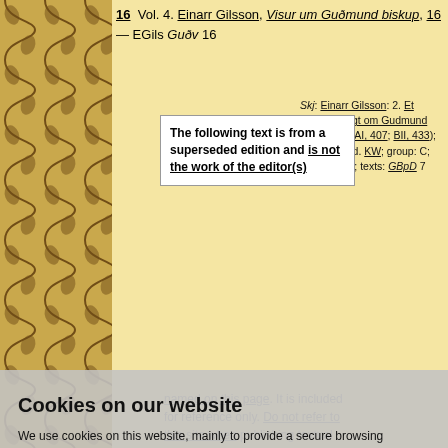16 Vol. 4. Einarr Gilsson, Visur um Gudmund biskup, 16 — EGils Gudv 16
Skj: Einarr Gilsson: 2. Et hrynhent digt om Gudmund Arason 16 (AI, 407; BII, 433); hrynhent; ed. KW; group: C; mss: 396, 5; texts: GBpD 7
The following text is from a superseded edition and is not the work of the editor(s) named on this page. It is included for reference only. Do not refer to this site when publishing textual data. Please consult the original edition (Skj) where relevant).
Treysti ek upp a himna herra
Cookies on our website
We use cookies on this website, mainly to provide a secure browsing experience but also to collect statistics on how the website is used. You can find out more about the cookies we set, the information we store and how we use it on the cookies page.
Continue